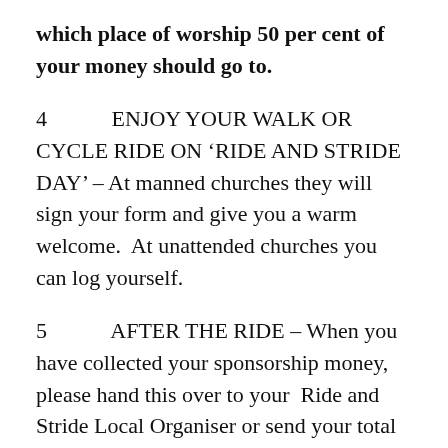which place of worship 50 per cent of your money should go to.
4   ENJOY YOUR WALK OR CYCLE RIDE ON 'RIDE AND STRIDE DAY' – At manned churches they will sign your form and give you a warm welcome.  At unattended churches you can log yourself.
5   AFTER THE RIDE – When you have collected your sponsorship money, please hand this over to your  Ride and Stride Local Organiser or send your total sponsorship money direct to the Ride and Stride Treasurer David Gould, by cheque payable to SHCT, ensuring that you clearly identify the church or